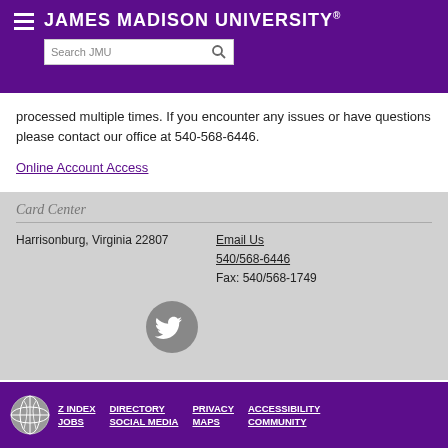JAMES MADISON UNIVERSITY
processed multiple times. If you encounter any issues or have questions please contact our office at 540-568-6446.
Online Account Access
Card Center
Harrisonburg, Virginia 22807
Email Us
540/568-6446
Fax: 540/568-1749
[Figure (logo): Twitter bird icon (gray circle with white Twitter bird)]
Z INDEX  DIRECTORY  PRIVACY  ACCESSIBILITY
JOBS  SOCIAL MEDIA  MAPS  COMMUNITY